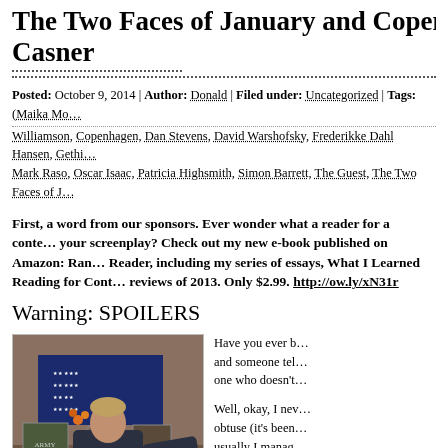The Two Faces of January and Copenhagen Casner
Posted: October 9, 2014 | Author: Donald | Filed under: Uncategorized | Tags: (Maika Monroe), Williamson, Copenhagen, Dan Stevens, David Warshofsky, Frederikke Dahl Hansen, Gethik (truncated), Mark Raso, Oscar Isaac, Patricia Highsmith, Simon Barrett, The Guest, The Two Faces of J…
First, a word from our sponsors. Ever wonder what a reader for a contest thinks of your screenplay? Check out my new e-book published on Amazon: Ran… Reader, including my series of essays, What I Learned Reading for Cont… reviews of 2013. Only $2.99. http://ow.ly/xN31r
Warning: SPOILERS
[Figure (photo): A young man in a dark hoodie stands in front of a memorial display with an American flag in a triangular case, military photographs, and memorabilia on a shelf.]
Have you ever b… and someone tel… one who doesn't…

Well, okay, I nev… obtuse (it's been… usually I manag…